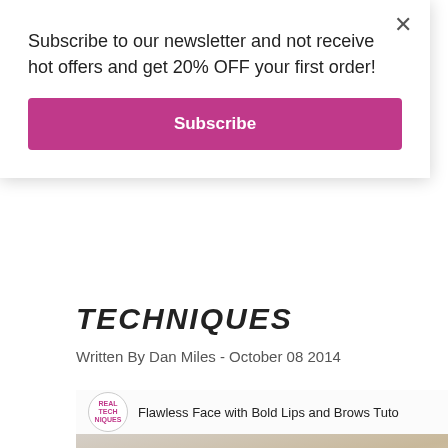Subscribe to our newsletter and not receive hot offers and get 20% OFF your first order!
Subscribe
TECHNIQUES
Written By Dan Miles - October 08 2014
[Figure (screenshot): YouTube video thumbnail showing a woman applying makeup to eyebrows with a brush. Video title: Flawless Face with Bold Lips and Brows Tuto. YouTube play button visible in center.]